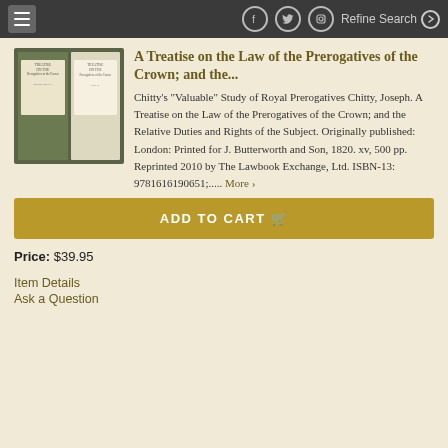Refine Search
A Treatise on the Law of the Prerogatives of the Crown; and the...
Chitty's "Valuable" Study of Royal Prerogatives Chitty, Joseph. A Treatise on the Law of the Prerogatives of the Crown; and the Relative Duties and Rights of the Subject. Originally published: London: Printed for J. Butterworth and Son, 1820. xv, 500 pp. Reprinted 2010 by The Lawbook Exchange, Ltd. ISBN-13: 9781616190651;..... More >
ADD TO CART
Price: $39.95
Item Details
Ask a Question